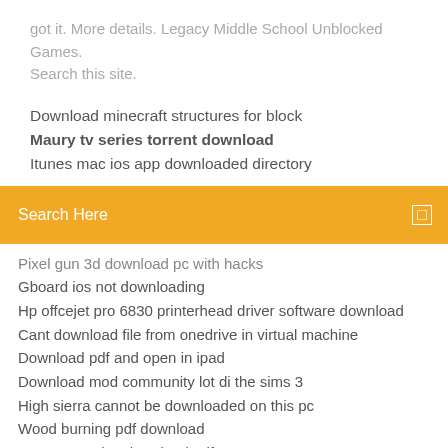got it. More details. Legacy Middle School Unblocked Games. Search this site.
Download minecraft structures for block
Maury tv series torrent download
Itunes mac ios app downloaded directory
Search Here
Pixel gun 3d download pc with hacks
Gboard ios not downloading
Hp offcejet pro 6830 printerhead driver software download
Cant download file from onedrive in virtual machine
Download pdf and open in ipad
Download mod community lot di the sims 3
High sierra cannot be downloaded on this pc
Wood burning pdf download
Gmat prep plus download pdf
Iis cannot download file 404
Download vector retropie logo